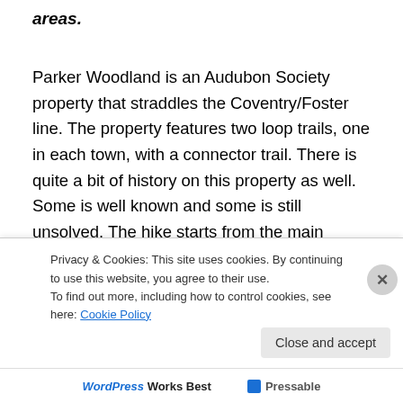areas.
Parker Woodland is an Audubon Society property that straddles the Coventry/Foster line. The property features two loop trails, one in each town, with a connector trail. There is quite a bit of history on this property as well. Some is well known and some is still unsolved. The hike starts from the main parking area by the nature center on Maple Valley Road. I then preceded to follow the orange blazed trail into the property. This trail meanders downhill
Privacy & Cookies: This site uses cookies. By continuing to use this website, you agree to their use.
To find out more, including how to control cookies, see here: Cookie Policy
WordPress Works Best   Pressable